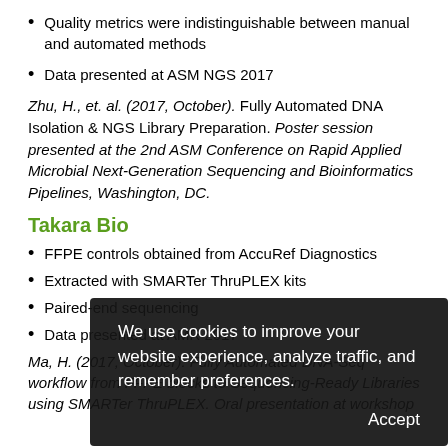Quality metrics were indistinguishable between manual and automated methods
Data presented at ASM NGS 2017
Zhu, H., et. al. (2017, October). Fully Automated DNA Isolation & NGS Library Preparation. Poster session presented at the 2nd ASM Conference on Rapid Applied Microbial Next-Generation Sequencing and Bioinformatics Pipelines, Washington, DC.
Takara Bio
FFPE controls obtained from AccuRef Diagnostics
Extracted with SMARTer ThruPLEX kits
Paired-end sequencing
Data presented at AMR 2017
Ma, H. (2017, October). Fully Automated DNA-Seq workflow from FFPE blocks to Sequencing-Ready Libraries using SMARTer ThruPLEX. Oral presentation at workshop